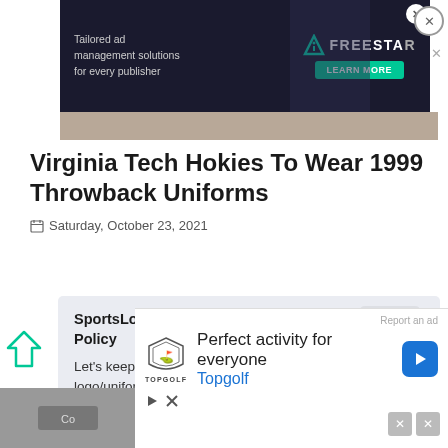[Figure (screenshot): Advertisement banner: dark background with text 'Tailored ad management solutions for every publisher' and Freestar logo with 'Learn More' button]
Virginia Tech Hokies To Wear 1999 Throwback Uniforms
Saturday, October 23, 2021
SportsLogos.Net News Comment Policy
Let's keep it friendly and related to logo/uniform design -- please no politics. Repeat violators will be banned.
[Figure (screenshot): Bottom advertisement for Topgolf: 'Perfect activity for everyone' with Topgolf logo and navigation arrow]